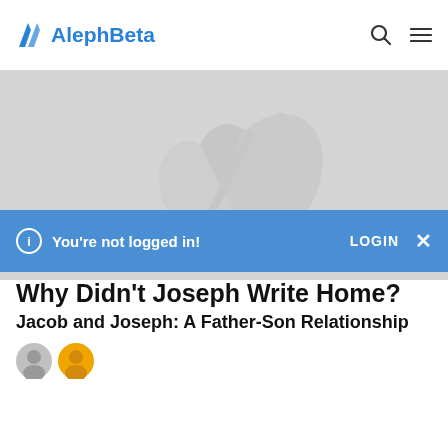AlephBeta
[Figure (illustration): Gray hero image with a faded Hebrew letter watermark (aleph/bet style characters) centered on a light gray background]
You're not logged in!
Why Didn't Joseph Write Home?
Jacob and Joseph: A Father-Son Relationship